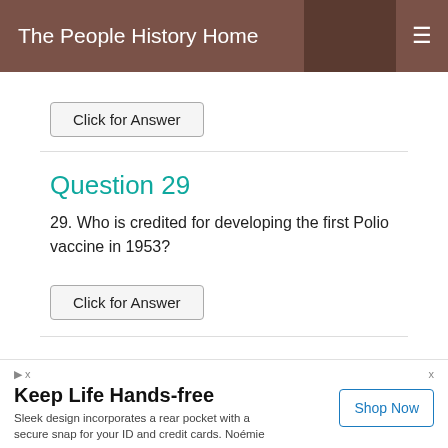The People History Home
Click for Answer
Question 29
29. Who is credited for developing the first Polio vaccine in 1953?
Click for Answer
Question 30
0. What year were the first color television pictures
Keep Life Hands-free
Sleek design incorporates a rear pocket with a secure snap for your ID and credit cards. Noémie